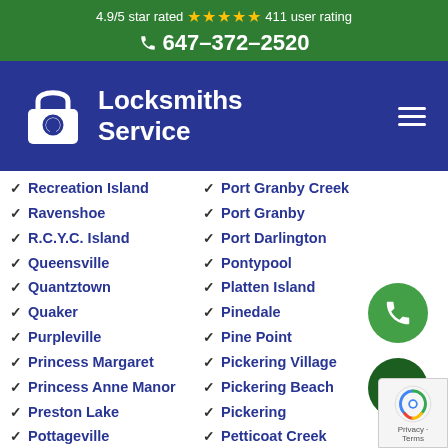4.9/5 star rated ★★★★★ 411 user rating
📞 647-372-2520
[Figure (logo): Locksmiths Service logo with padlock icon on dark blue background, hamburger menu icon on right]
Recreation Island
Port Granby Creek
Ravenshoe
Port Granby
R.C.Y.C. Island
Port Darlington
Queensville
Pontypool
Quantztown
Platten Island
Quaker
Pinedale
Purpleville
Pine Point
Princess Margaret
Pickering Village
Princess Anne Manor
Pickering Beach
Preston Lake
Pickering
Pottageville
Petticoat Creek